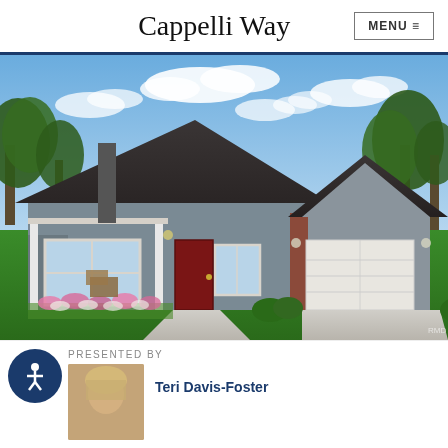Cappelli Way
[Figure (illustration): 3D architectural rendering of a single-story house with dark gray roof, gray siding, red front door, white trim, attached two-car garage with brick accents, colorful flower beds, green lawn, and trees in background under blue sky with clouds]
PRESENTED BY
[Figure (photo): Headshot photo of agent with blonde/light hair]
Teri Davis-Foster